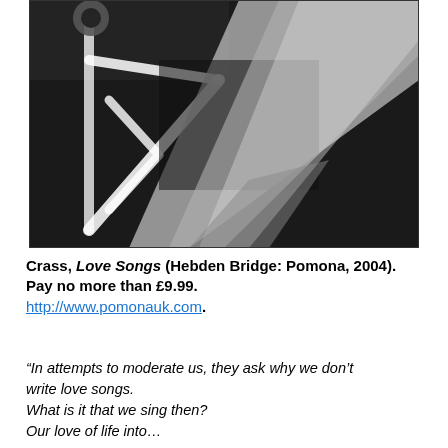[Figure (photo): Black and white photograph showing abstract angular shapes — appears to be a close-up of a star or arrow-like geometric form with a diagonal textured band, all in high contrast black and white.]
Crass, Love Songs (Hebden Bridge: Pomona, 2004). Pay no more than £9.99. http://www.pomonauk.com.
“In attempts to moderate us, they ask why we don’t write love songs.
What is it that we sing then?
Our love of life into…